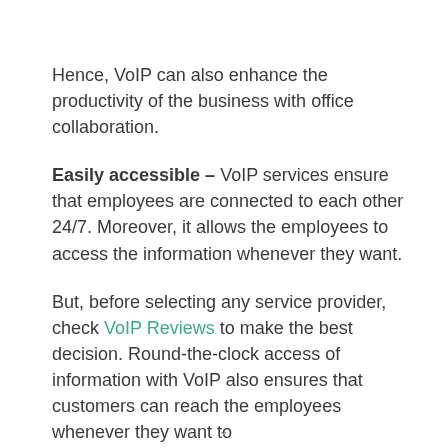Hence, VoIP can also enhance the productivity of the business with office collaboration.
Easily accessible – VoIP services ensure that employees are connected to each other 24/7. Moreover, it allows the employees to access the information whenever they want.
But, before selecting any service provider, check VoIP Reviews to make the best decision. Round-the-clock access of information with VoIP also ensures that customers can reach the employees whenever they want to.